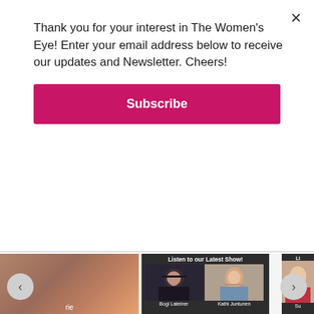Thank you for your interest in The Women's Eye! Enter your email address below to receive our updates and Newsletter. Cheers!
[Figure (other): Pink Subscribe button]
[Figure (other): Carousel showing podcast cards. Center card: 'Listen to our Latest Show!' with photos of Bogi Lateiner and Kathi Juntunen. Partial left card showing a woman. Partial right card with 'Li...' text. Navigation arrows on left and right. Below center card: 'Encore TWE Podcasts: February 26, 27 2017']